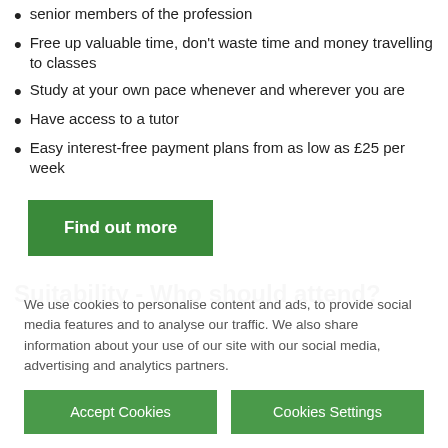senior members of the profession
Free up valuable time, don't waste time and money travelling to classes
Study at your own pace whenever and wherever you are
Have access to a tutor
Easy interest-free payment plans from as low as £25 per week
[Figure (other): Green 'Find out more' button]
Suitability - Who should attend?
We use cookies to personalise content and ads, to provide social media features and to analyse our traffic. We also share information about your use of our site with our social media, advertising and analytics partners.
[Figure (other): Two green buttons: 'Accept Cookies' and 'Cookies Settings']